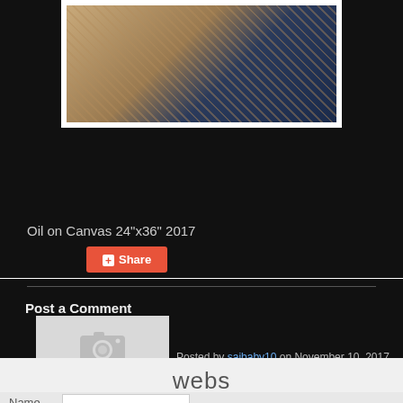[Figure (photo): Partial view of an oil painting showing rocky/canyon textures in sandy brown and dark blue tones, framed in white]
Oil on Canvas 24"x36" 2017
[Figure (other): Share button with red/orange background showing a plus icon and 'Share' text]
[Figure (photo): Gray placeholder avatar image with camera icon]
Posted by sajbaby10 on November 10, 2017
Post a Comment
[Figure (logo): webs logo in gray text]
Name